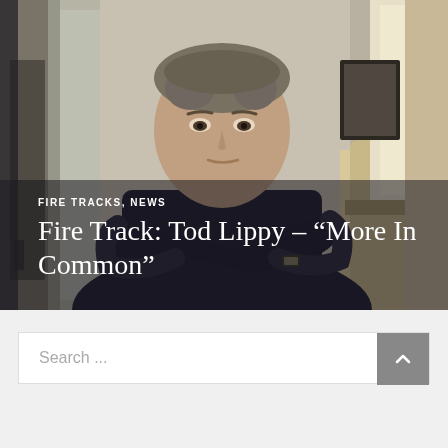[Figure (photo): A middle-aged man with short gray-brown hair, wearing a dark navy blue t-shirt, standing with arms crossed in what appears to be a room with glass doors and soft furnishings in the background.]
FIRE TRACKS, NEWS
Fire Track: Tod Lippy – “More In Common”
Search ...